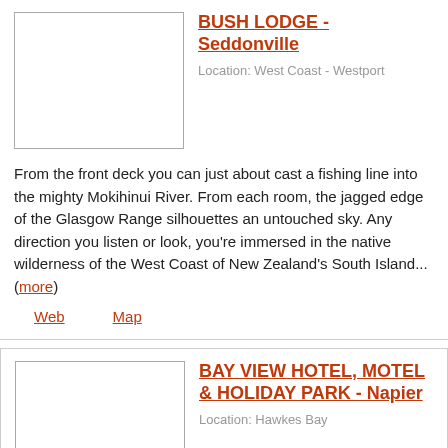BUSH LODGE - Seddonville
Location: West Coast - Westport
From the front deck you can just about cast a fishing line into the mighty Mokihinui River. From each room, the jagged edge of the Glasgow Range silhouettes an untouched sky. Any direction you listen or look, you're immersed in the native wilderness of the West Coast of New Zealand's South Island... (more)
Web   Map
BAY VIEW HOTEL, MOTEL & HOLIDAY PARK - Napier
Location: Hawkes Bay